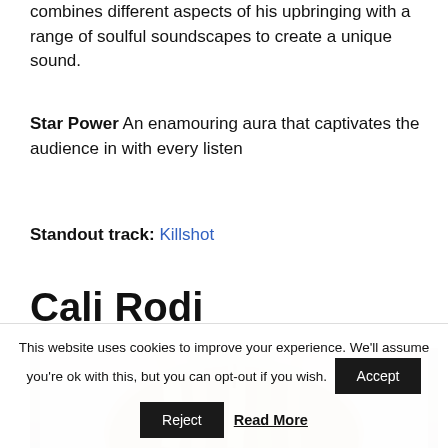combines different aspects of his upbringing with a range of soulful soundscapes to create a unique sound.
Star Power An enamouring aura that captivates the audience in with every listen
Standout track: Killshot
Cali Rodi
[Figure (photo): Photo of Cali Rodi, showing top of head with blonde/highlighted hair against light background]
This website uses cookies to improve your experience. We'll assume you're ok with this, but you can opt-out if you wish. Accept Reject Read More